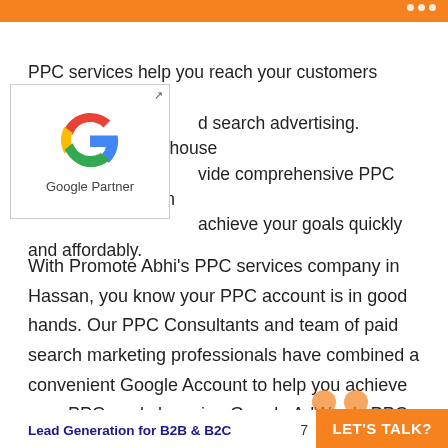PPC services help you reach your customers online through paid search advertising. Promote Abhi's in-house experts provide comprehensive PPC services in Hassan to help you achieve your goals quickly and affordably.
[Figure (logo): Google Partner logo with colorful G icon and text 'Google Partner' inside a bordered box]
With Promote Abhi's PPC services company in Hassan, you know your PPC account is in good hands. Our PPC Consultants and team of paid search marketing professionals have combined a convenient Google Account to help you achieve your PPC goals by using Google AdWords PPC services.
Lead Generation for B2B & B2C   7   LET'S TALK?